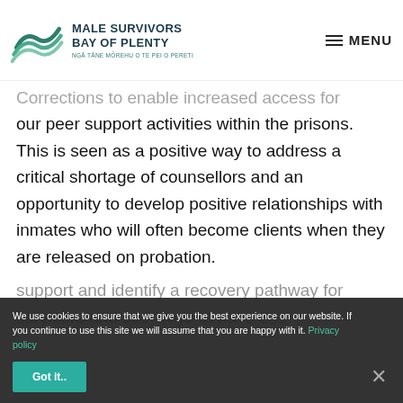[Figure (logo): Male Survivors Bay of Plenty logo with teal wave graphic and organization name]
Corrections to enable increased access for our peer support activities within the prisons. This is seen as a positive way to address a critical shortage of counsellors and an opportunity to develop positive relationships with inmates who will often become clients when they are released on probation.
support and identity a recovery pathway for survivors and see ways to have this
We use cookies to ensure that we give you the best experience on our website. If you continue to use this site we will assume that you are happy with it. Privacy policy